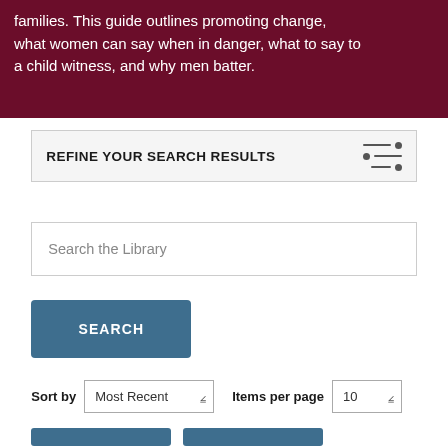families. This guide outlines promoting change, what women can say when in danger, what to say to a child witness, and why men batter.
REFINE YOUR SEARCH RESULTS
Search the Library
SEARCH
Sort by Most Recent   Items per page 10